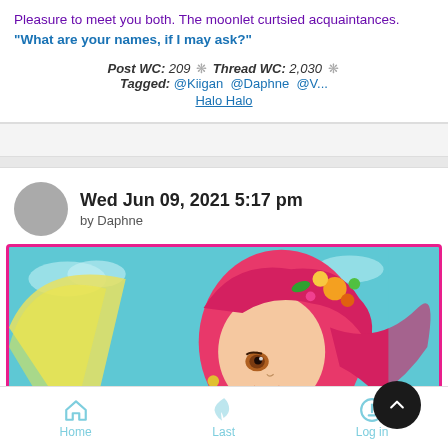Pleasure to meet you both. The moonlet curtsied acquaintances. "What are your names, if I may ask?"
Post WC: 209 ❋ Thread WC: 2,030 ❋ Tagged: @Kiigan @Daphne @V... Halo Halo
Wed Jun 09, 2021 5:17 pm
by Daphne
[Figure (illustration): Anime-style illustration of a girl with bright pink/red hair and flowers, wearing colorful clothing, against a teal sky background with a scroll-up button overlay.]
Home  Last  Log in